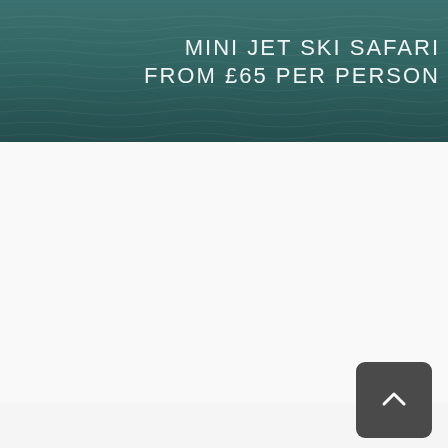[Figure (photo): Water surface / ocean background image with teal-green rippled water texture, with white text overlay reading 'MINI JET SKI SAFARI FROM £65 PER PERSON']
MINI JET SKI SAFARI
FROM £65 PER PERSON
[Figure (other): White/light gray empty section with a thin horizontal border at the bottom]
[Figure (other): Light gray empty section with a dark rounded square back-to-top button containing an upward chevron arrow]